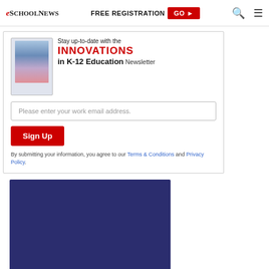eSchool News | FREE REGISTRATION GO ▶
[Figure (screenshot): Newsletter signup box with tablet image, INNOVATIONS in K-12 Education Newsletter headline, email input field, Sign Up button, and terms text]
[Figure (other): Dark navy blue rectangle advertisement or content block]